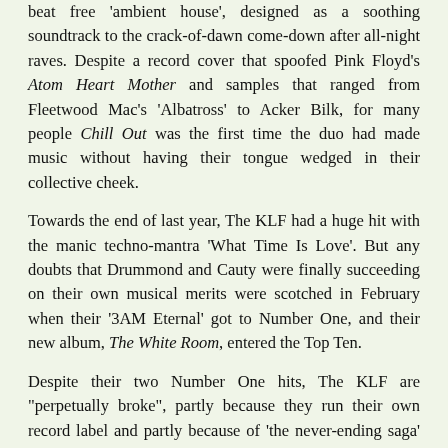beat free 'ambient house', designed as a soothing soundtrack to the crack-of-dawn come-down after all-night raves. Despite a record cover that spoofed Pink Floyd's Atom Heart Mother and samples that ranged from Fleetwood Mac's 'Albatross' to Acker Bilk, for many people Chill Out was the first time the duo had made music without having their tongue wedged in their collective cheek.
Towards the end of last year, The KLF had a huge hit with the manic techno-mantra 'What Time Is Love'. But any doubts that Drummond and Cauty were finally succeeding on their own musical merits were scotched in February when their '3AM Eternal' got to Number One, and their new album, The White Room, entered the Top Ten.
Despite their two Number One hits, The KLF are "perpetually broke", partly because they run their own record label and partly because of 'the never-ending saga' of their full-length movie The White Room. "We've spent £200,000 on it already, but we need £1.5 million to finish it," says Drummond ruefully. So they've released the soundtrack album first, and are waiting to "knock...